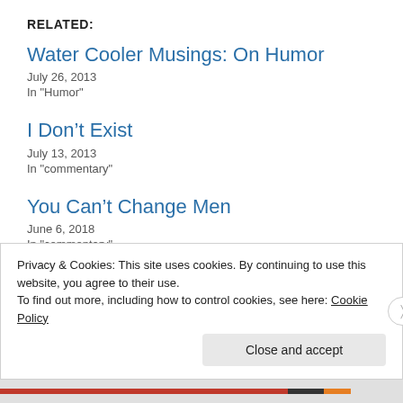RELATED:
Water Cooler Musings: On Humor
July 26, 2013
In "Humor"
I Don’t Exist
July 13, 2013
In "commentary"
You Can’t Change Men
June 6, 2018
In "commentary"
Privacy & Cookies: This site uses cookies. By continuing to use this website, you agree to their use.
To find out more, including how to control cookies, see here: Cookie Policy
Close and accept